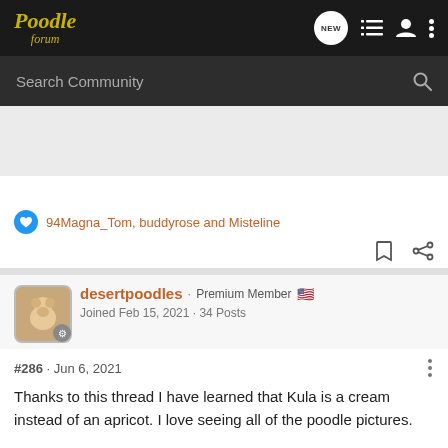Poodle forum
Search Community
[Figure (other): Advertisement placeholder area (grey box)]
94Magna_Tom, buddyrose and Misteline
desertpoodles · Premium Member
Joined Feb 15, 2021 · 34 Posts
#286 · Jun 6, 2021
Thanks to this thread I have learned that Kula is a cream instead of an apricot. I love seeing all of the poodle pictures.